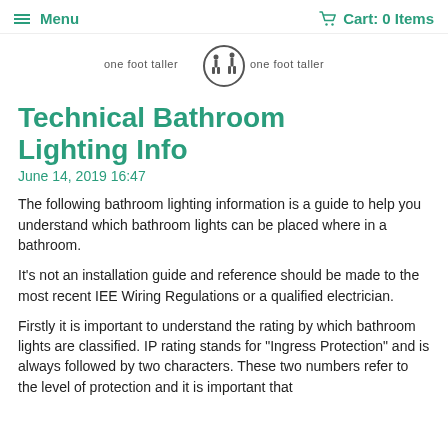≡ Menu   Cart: 0 Items
[Figure (logo): one foot taller logo with circular icon in center, text 'one foot taller' on both sides]
Technical Bathroom Lighting Info
June 14, 2019 16:47
The following bathroom lighting information is a guide to help you understand which bathroom lights can be placed where in a bathroom.
It's not an installation guide and reference should be made to the most recent IEE Wiring Regulations or a qualified electrician.
Firstly it is important to understand the rating by which bathroom lights are classified. IP rating stands for "Ingress Protection" and is always followed by two characters. These two numbers refer to the level of protection and it is important that...